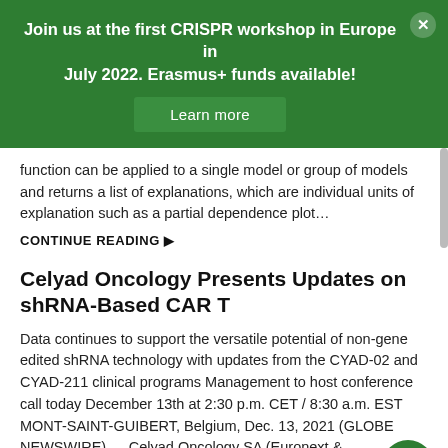Join us at the first CRISPR workshop in Europe in July 2022. Erasmus+ funds available!
Learn more
function can be applied to a single model or group of models and returns a list of explanations, which are individual units of explanation such as a partial dependence plot…
CONTINUE READING ▶
Celyad Oncology Presents Updates on shRNA-Based CAR T
Data continues to support the versatile potential of non-gene edited shRNA technology with updates from the CYAD-02 and CYAD-211 clinical programs Management to host conference call today December 13th at 2:30 p.m. CET / 8:30 a.m. EST MONT-SAINT-GUIBERT, Belgium, Dec. 13, 2021 (GLOBE NEWSWIRE) — Celyad Oncology SA (Euronext &…
CONTINUE READING ▶